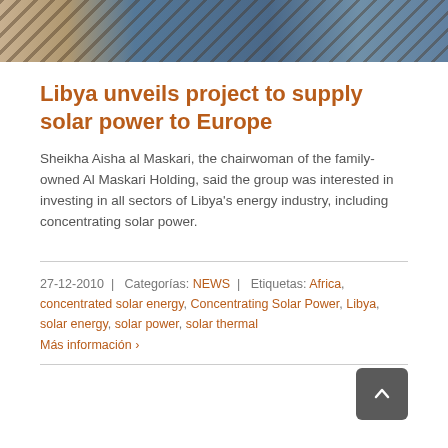[Figure (photo): Partial view of solar panels with blue and brown tones at the top of the page]
Libya unveils project to supply solar power to Europe
Sheikha Aisha al Maskari, the chairwoman of the family-owned Al Maskari Holding, said the group was interested in investing in all sectors of Libya's energy industry, including concentrating solar power.
27-12-2010 | Categorías: NEWS | Etiquetas: Africa, concentrated solar energy, Concentrating Solar Power, Libya, solar energy, solar power, solar thermal
Más información ›